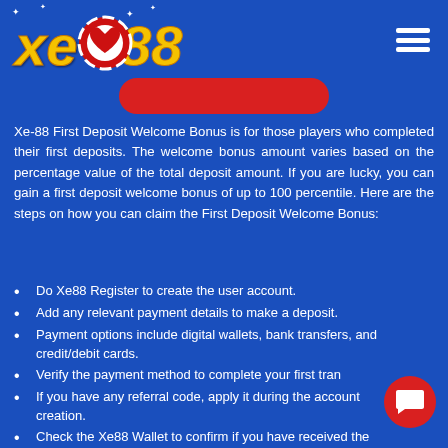XE88 logo and navigation menu
[Figure (logo): XE88 casino logo with golden italic text 'xe88' and a red poker chip with heart, with sparkle stars. Hamburger menu icon on the right.]
[Figure (other): Red rounded button partially visible at top center]
Xe-88 First Deposit Welcome Bonus is for those players who completed their first deposits. The welcome bonus amount varies based on the percentage value of the total deposit amount. If you are lucky, you can gain a first deposit welcome bonus of up to 100 percentile. Here are the steps on how you can claim the First Deposit Welcome Bonus:
Do Xe88 Register to create the user account.
Add any relevant payment details to make a deposit.
Payment options include digital wallets, bank transfers, and credit/debit cards.
Verify the payment method to complete your first tran...
If you have any referral code, apply it during the account creation.
Check the Xe88 Wallet to confirm if you have received the welcome bonus.